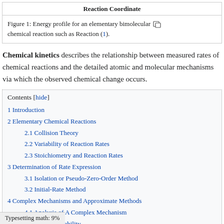Reaction Coordinate
Figure 1: Energy profile for an elementary bimolecular chemical reaction such as Reaction (1).
Chemical kinetics describes the relationship between measured rates of chemical reactions and the detailed atomic and molecular mechanisms via which the observed chemical change occurs.
Contents [hide]
1 Introduction
2 Elementary Chemical Reactions
2.1 Collision Theory
2.2 Variability of Reaction Rates
2.3 Stoichiometry and Reaction Rates
3 Determination of Rate Expression
3.1 Isolation or Pseudo-Zero-Order Method
3.2 Initial-Rate Method
4 Complex Mechanisms and Approximate Methods
4.1 Analysis of A Complex Mechanism
4.2 Distinguishability
Typesetting math: 9%